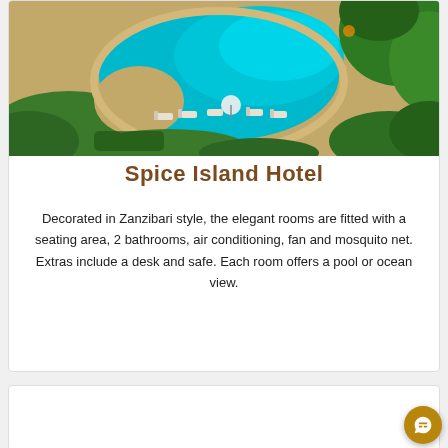[Figure (photo): Aerial view of a resort swimming pool with turquoise water, lounge chairs, umbrellas, sandy area, and tropical palm trees surrounding the pool area.]
Spice Island Hotel
Decorated in Zanzibari style, the elegant rooms are fitted with a seating area, 2 bathrooms, air conditioning, fan and mosquito net. Extras include a desk and safe. Each room offers a pool or ocean view.